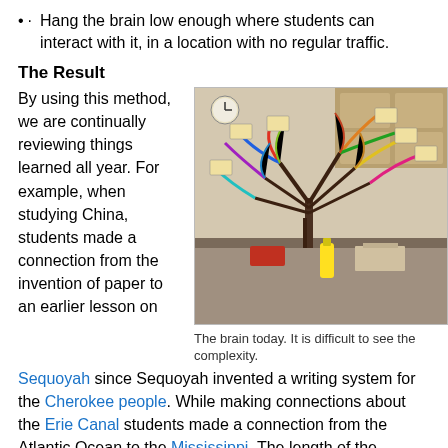· Hang the brain low enough where students can interact with it, in a location with no regular traffic.
The Result
By using this method, we are continually reviewing things learned all year. For example, when studying China, students made a connection from the invention of paper to an earlier lesson on Sequoyah since Sequoyah invented a writing system for the Cherokee people. While making connections about the Erie Canal students made a connection from the Atlantic Ocean to the Mississippi. The length of the Mississippi had them connecting it to the Nile, Amazon, and Yellow Rivers. They
[Figure (photo): A classroom project showing a tree-like structure with colorful pipe cleaners and paper tags representing connected concepts, known as 'the brain'.]
The brain today. It is difficult to see the complexity.